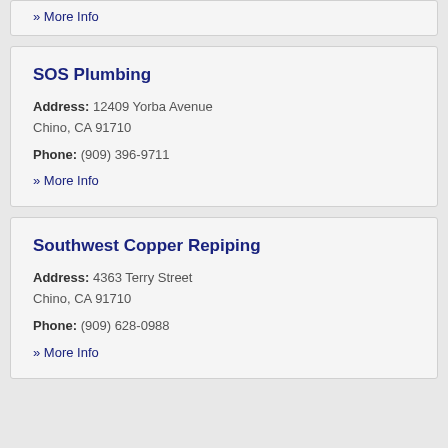» More Info
SOS Plumbing
Address: 12409 Yorba Avenue Chino, CA 91710
Phone: (909) 396-9711
» More Info
Southwest Copper Repiping
Address: 4363 Terry Street Chino, CA 91710
Phone: (909) 628-0988
» More Info